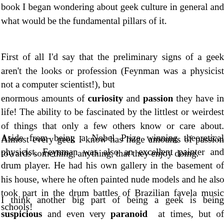book I began wondering about geek culture in general and what would be the fundamental pillars of it.
First of all I'd say that the preliminary signs of a geek aren't the looks or profession (Feynman was a physicist not a computer scientist!), but the enormous amounts of curiosity and passion they have in life! The ability to be fascinated by the littlest or weirdest of things that only a few others know or care about. Almost every geek I know has huge amounts of passion towards something, anything, that they enjoy doing.
Aside from being a Nobel Prize winning theoretical physicist, Feynman was also an excellent painter and drum player. He had his own gallery in the basement of his house, where he often painted nude models and he also took part in the drum battles of Brazilian favela music schools!
I think another big part of being a geek is being suspicious and even paranoid at times, but of course in a good way. There's a story about Feynman involving neutron-proton coupling. At that time everybody thought it was T, but according to Feynman's calculations and thoughts it sho